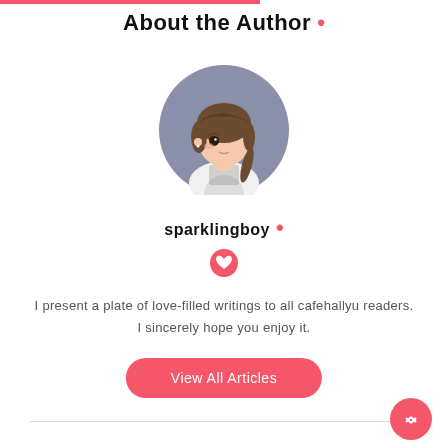About the Author .
[Figure (illustration): Circular avatar of an anime-style girl with brown hair in a braid, wearing a school uniform, on a purple/grey background]
sparklingboy •
[Figure (illustration): Pink heart/love icon badge]
I present a plate of love-filled writings to all cafehallyu readers. I sincerely hope you enjoy it.
View All Articles